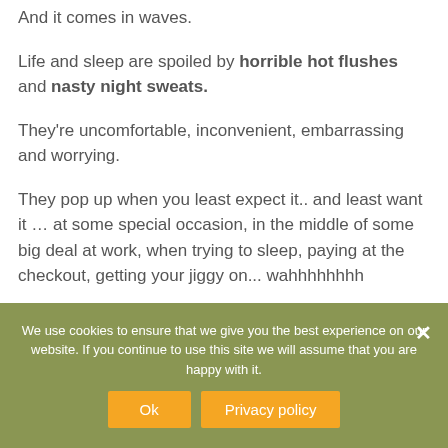And it comes in waves.
Life and sleep are spoiled by horrible hot flushes and nasty night sweats.
They're uncomfortable, inconvenient, embarrassing and worrying.
They pop up when you least expect it.. and least want it … at some special occasion, in the middle of some big deal at work, when trying to sleep, paying at the checkout, getting your jiggy on... wahhhhhhhh
We use cookies to ensure that we give you the best experience on our website. If you continue to use this site we will assume that you are happy with it.